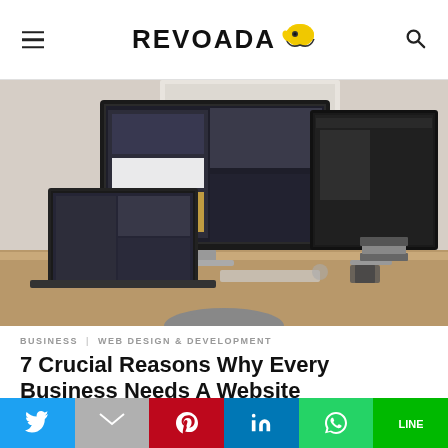REVOADA
[Figure (photo): Workspace with two large monitors showing web design software and a laptop, on a wooden desk, photographed from a slight angle]
BUSINESS   WEB DESIGN & DEVELOPMENT
7 Crucial Reasons Why Every Business Needs A Website